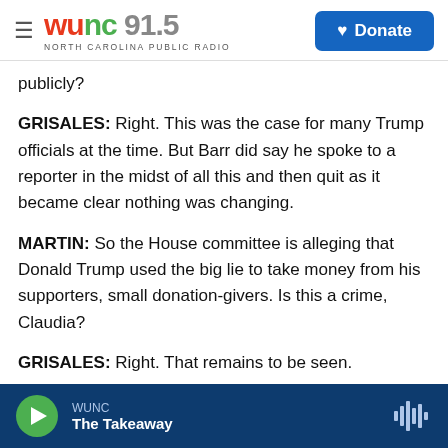WUNC 91.5 NORTH CAROLINA PUBLIC RADIO | Donate
publicly?
GRISALES: Right. This was the case for many Trump officials at the time. But Barr did say he spoke to a reporter in the midst of all this and then quit as it became clear nothing was changing.
MARTIN: So the House committee is alleging that Donald Trump used the big lie to take money from his supporters, small donation-givers. Is this a crime, Claudia?
GRISALES: Right. That remains to be seen.
WUNC | The Takeaway